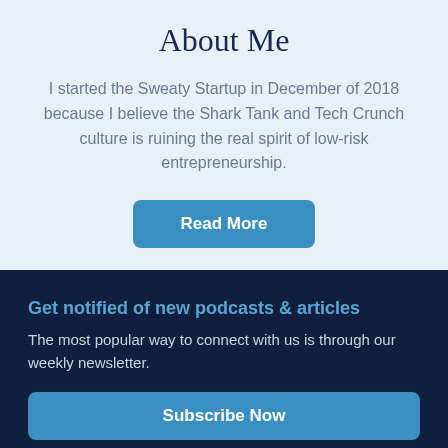About Me
I started the Sweaty Startup in December of 2018 because I believe the Shark Tank and Tech Crunch culture is ruining the real spirit of low-risk entrepreneurship.
Read More
Get notified of new podcasts & articles
The most popular way to connect with us is through our weekly newsletter.
Subscribe Now